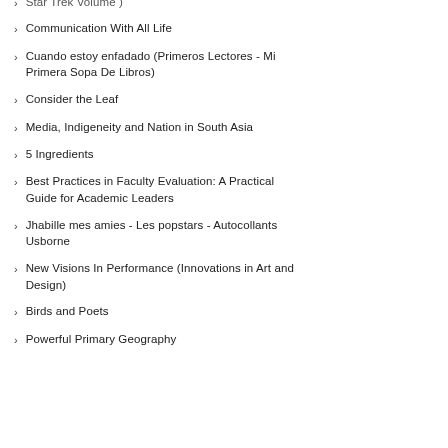Star Trek Volume ? (partial, cut off at top)
Communication With All Life
Cuando estoy enfadado (Primeros Lectores - Mi Primera Sopa De Libros)
Consider the Leaf
Media, Indigeneity and Nation in South Asia
5 Ingredients
Best Practices in Faculty Evaluation: A Practical Guide for Academic Leaders
Jhabille mes amies - Les popstars - Autocollants Usborne
New Visions In Performance (Innovations in Art and Design)
Birds and Poets
Powerful Primary Geography